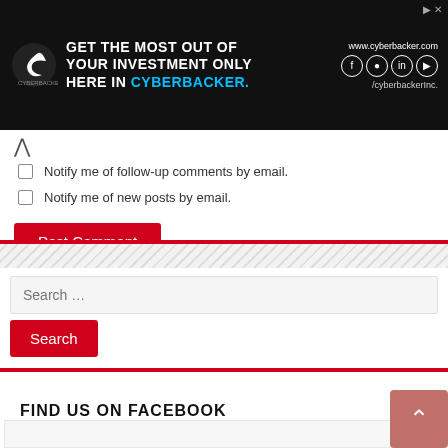[Figure (screenshot): Cyberbacker advertisement banner on dark background with logo, text 'GET THE MOST OUT OF YOUR INVESTMENT ONLY HERE IN CYBERBACKER.' and social media icons, website www.cyberbacker.com]
Notify me of follow-up comments by email.
Notify me of new posts by email.
Post Comment
Search …
Search
FIND US ON FACEBOOK